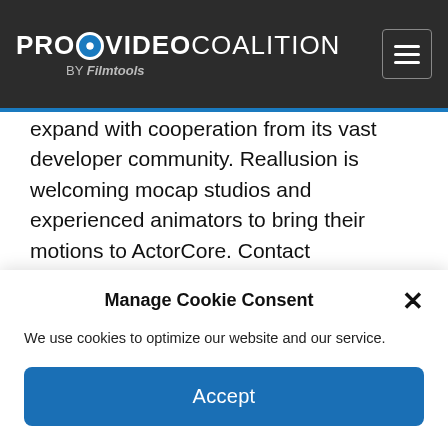PROVIDEO COALITION BY Filmtools
expand with cooperation from its vast developer community. Reallusion is welcoming mocap studios and experienced animators to bring their motions to ActorCore. Contact marketing@reallusion.com for more information.
Reallusion is celebrating its 20th anniversary with limited time special offers. To celebrate
Manage Cookie Consent
We use cookies to optimize our website and our service.
Accept